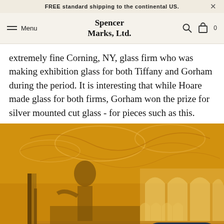FREE standard shipping to the continental US.
Spencer Marks, Ltd.
extremely fine Corning, NY, glass firm who was making exhibition glass for both Tiffany and Gorham during the period. It is interesting that while Hoare made glass for both firms, Gorham won the prize for silver mounted cut glass - for pieces such as this.
[Figure (photo): Sepia/golden-toned historic photograph of an ornate exhibition hall interior with arched windows, decorative ceiling, display cases, and a large standing figure/statue in the foreground.]
Chat with us